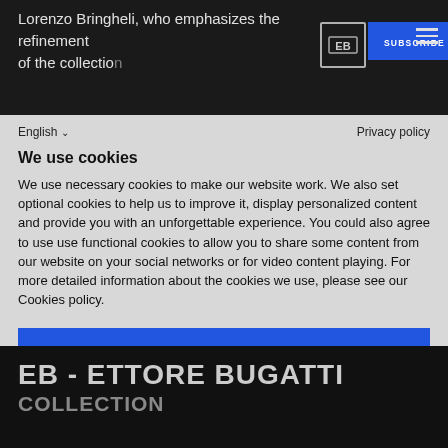Lorenzo Bringheli, who emphasizes the refinement of the collection
We use cookies
We use necessary cookies to make our website work. We also set optional cookies to help us to improve it, display personalized content and provide you with an unforgettable experience. You could also agree to use use functional cookies to allow you to share some content from our website on your social networks or for video content playing. For more detailed information about the cookies we use, please see our Cookies policy.
Accept all
Reject all
Personalize
EB - ETTORE BUGATTI
COLLECTION